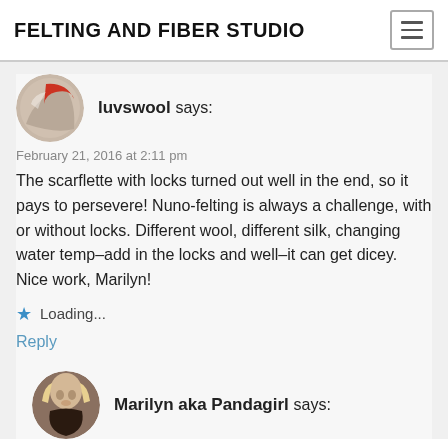FELTING AND FIBER STUDIO
luvswool says:
February 21, 2016 at 2:11 pm
The scarflette with locks turned out well in the end, so it pays to persevere! Nuno-felting is always a challenge, with or without locks. Different wool, different silk, changing water temp–add in the locks and well–it can get dicey. Nice work, Marilyn!
Loading...
Reply
Marilyn aka Pandagirl says: